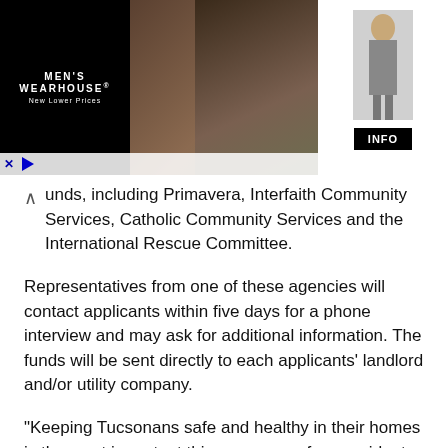[Figure (photo): Men's Wearhouse advertisement banner showing a couple in formal wear (dark suit and evening gown) in the center, a solo male figure in a suit on the right side, Men's Wearhouse logo and 'New Lower Prices' text on the left black background, and an INFO button on the right.]
unds, including Primavera, Interfaith Community Services, Catholic Community Services and the International Rescue Committee.
Representatives from one of these agencies will contact applicants within five days for a phone interview and may ask for additional information. The funds will be sent directly to each applicants' landlord and/or utility company.
“Keeping Tucsonans safe and healthy in their homes is the most important thing as many of our residents have been greatly impacted financially by this pandemic,” said Housing and Community Development Director Liz Morales in a press release.
The application process opened yesterday and renters are